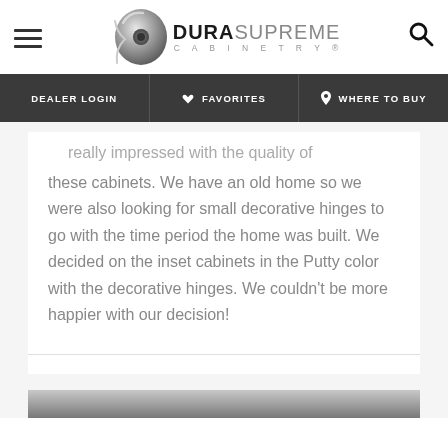Dura Supreme Cabinetry — site header with hamburger menu, logo, and search icon
DEALER LOGIN | FAVORITES | WHERE TO BUY
really impressed with the quality of these cabinets. We have an old home so we were also looking for small decorative hinges to go with the time period the home was built. We decided on the inset cabinets in the Putty color with the decorative hinges. We couldn't be more happier with our decision!